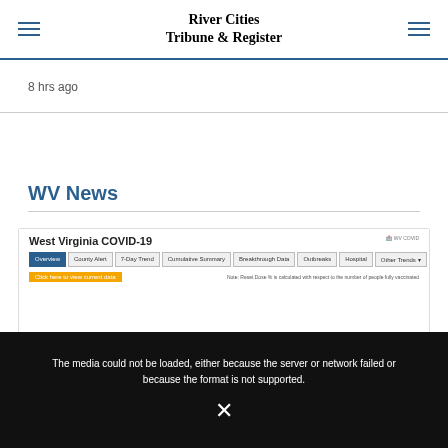River Cities Tribune & Register
8 hrs ago
More US and World News
WV News
[Figure (screenshot): West Virginia COVID-19 dashboard screenshot showing navigation tabs: Overview, County Alert, 7-Day Trend, Cumulative Summary, Breakthrough Data, Outbreaks, Hospital, Other Trends, Vaccine Summary]
This website uses cookies to enhance user experience and to analyze performance and traffic on our website.
The media could not be loaded, either because the server or network failed or because the format is not supported.